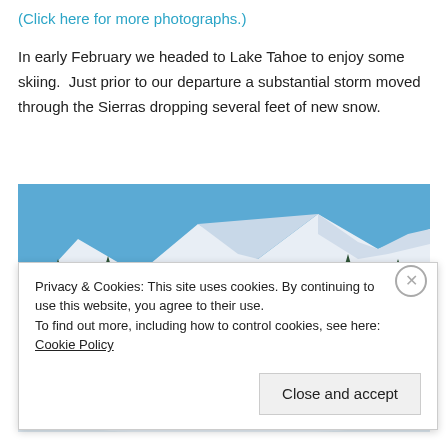(Click here for more photographs.)
In early February we headed to Lake Tahoe to enjoy some skiing.  Just prior to our departure a substantial storm moved through the Sierras dropping several feet of new snow.
[Figure (photo): Group of four people in winter gear standing in a snowy mountain landscape with pine trees and snow-covered peaks under a blue sky. A snowmobile is visible on the left side.]
Privacy & Cookies: This site uses cookies. By continuing to use this website, you agree to their use.
To find out more, including how to control cookies, see here: Cookie Policy
Close and accept